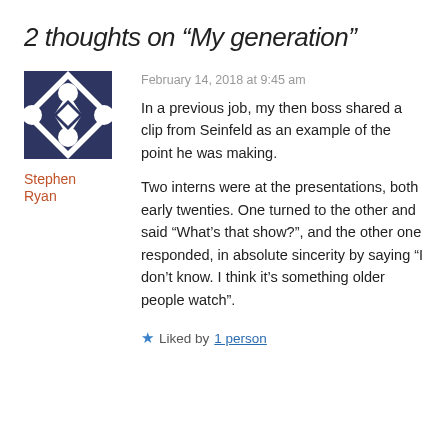2 thoughts on “My generation”
February 14, 2018 at 9:45 am
[Figure (illustration): Geometric avatar icon with dark navy blue diamond and star pattern on white background]
Stephen Ryan
In a previous job, my then boss shared a clip from Seinfeld as an example of the point he was making.
Two interns were at the presentations, both early twenties. One turned to the other and said “What’s that show?”, and the other one responded, in absolute sincerity by saying “I don’t know. I think it’s something older people watch”.
★ Liked by 1 person